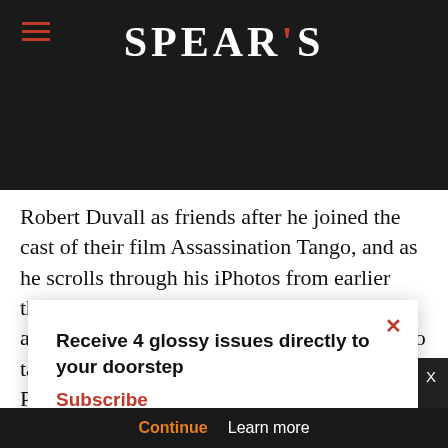SPEAR'S
Robert Duvall as friends after he joined the cast of their film Assassination Tango, and as he scrolls through his iPhotos from earlier that week, pop star Katy Perry looms large in a joint selfie. It's clear that if you're in town to tackle the obsession made famous in the Parisian-style dance halls of the city, Copello is your man.
[Figure (photo): Partial view of a blue sky photo strip]
Receive 4 glossy issues directly to your doorstep
Subscribe
continue using our all cookies on this
Continue   Learn more